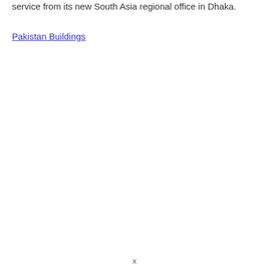service from its new South Asia regional office in Dhaka.
Pakistan Buildings
x